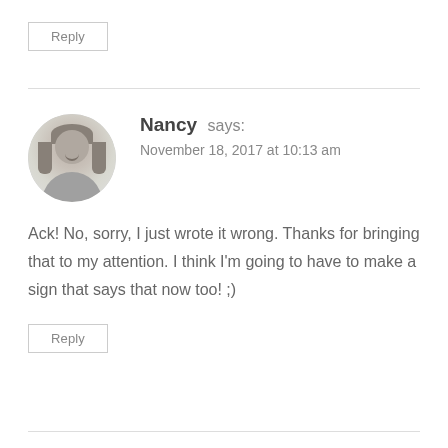Reply
Nancy says:
November 18, 2017 at 10:13 am
Ack! No, sorry, I just wrote it wrong. Thanks for bringing that to my attention. I think I'm going to have to make a sign that says that now too! ;)
Reply